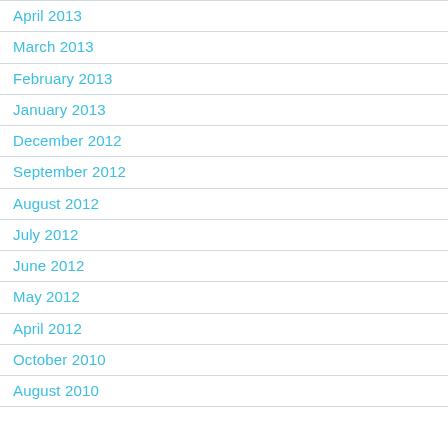April 2013
March 2013
February 2013
January 2013
December 2012
September 2012
August 2012
July 2012
June 2012
May 2012
April 2012
October 2010
August 2010